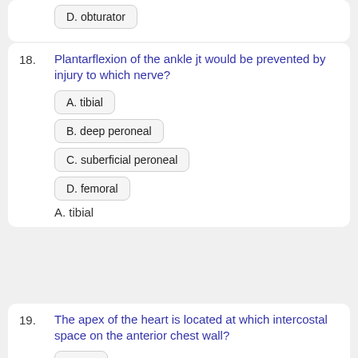D. obturator
18.
Plantarflexion of the ankle jt would be prevented by injury to which nerve?
A. tibial
B. deep peroneal
C. suberficial peroneal
D. femoral
A. tibial
19.
The apex of the heart is located at which intercostal space on the anterior chest wall?
A. 4th